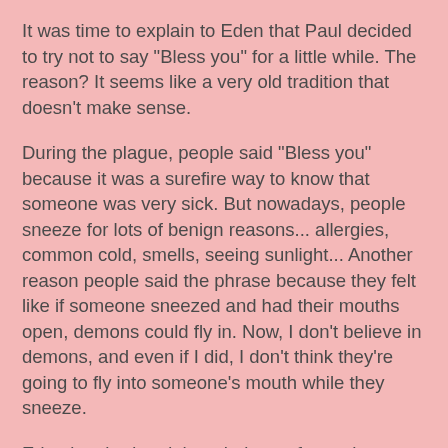It was time to explain to Eden that Paul decided to try not to say "Bless you" for a little while. The reason? It seems like a very old tradition that doesn't make sense.
During the plague, people said "Bless you" because it was a surefire way to know that someone was very sick. But nowadays, people sneeze for lots of benign reasons... allergies, common cold, smells, seeing sunlight... Another reason people said the phrase because they felt like if someone sneezed and had their mouths open, demons could fly in. Now, I don't believe in demons, and even if I did, I don't think they're going to fly into someone's mouth while they sneeze.
Eden laughed and thought it was funny that we decided not to say the phrase. "The real test is if I'm in an elevator with a little old lady and she sneezes," Paul said. "I don't think I'll be able to not say it if that